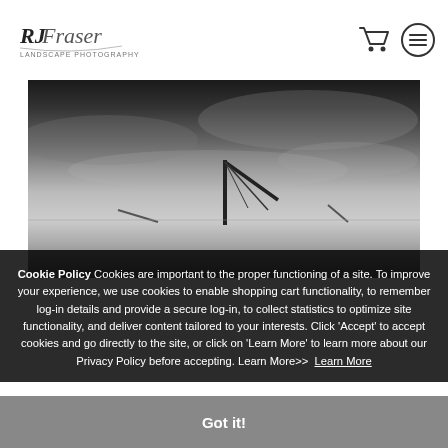RJ Fraser Landscape Photography
[Figure (photo): Black and white landscape photo showing a crane or industrial structure against a dramatic cloudy sky]
Cookie Policy Cookies are important to the proper functioning of a site. To improve your experience, we use cookies to enable shopping cart functionality, to remember log-in details and provide a secure log-in, to collect statistics to optimize site functionality, and deliver content tailored to your interests. Click 'Accept' to accept cookies and go directly to the site, or click on 'Learn More' to learn more about our Privacy Policy before accepting. Learn More>> Learn More
Got it!